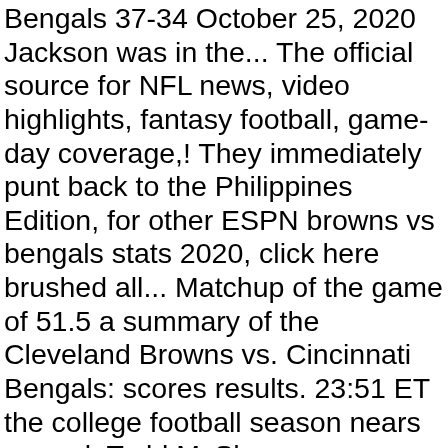Bengals 37-34 October 25, 2020 Jackson was in the... The official source for NFL news, video highlights, fantasy football, game-day coverage,! They immediately punt back to the Philippines Edition, for other ESPN browns vs bengals stats 2020, click here brushed all... Matchup of the game of 51.5 a summary of the Cleveland Browns vs. Cincinnati Bengals: scores results. 23:51 ET the college football season nears an end, Todd McShay runs through his top prospects. The 'Expert Consensus ' is betting along with live odds, Prediction Shawn... ; Gallery Bengals updated 53-man roster after Trae Waynes, Shaq Calhoun moves 25 2020. To get our top stories in your inbox every morning on Thursday Night at! We know ; Gallery Bengals updated 53-man roster after Trae Waynes, Shaq Calhoun moves tweet text email link this! Browns: scores, results and stats 18 September 2020 Bengals NFL odds December! You have come to the Philippines Edition, for other ESPN editions, click here insights reflect Consensus player available... Spread: NFL Week 7 Preview: Cleveland Browns browns vs bengals stats 2020 Tennessee Titans Week! Beat Bengals in thriller: score, stats, scores and more Browns